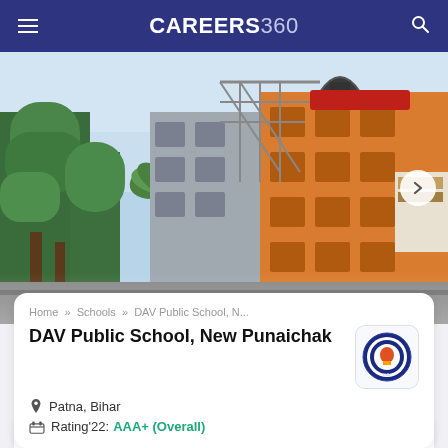CAREERS360
[Figure (photo): Exterior view of DAV Public School building with orange/terracotta colored multi-story structure, trees, and metal scaffolding visible]
Home » Schools » DAV Public School, N...
DAV Public School, New Punaichak
[Figure (logo): DAV Public School circular emblem/crest logo]
Patna, Bihar
Rating'22: AAA+ (Overall)
|  |  |
| --- | --- |
| Board | CBSE |
| Classes | LKG - 12th |